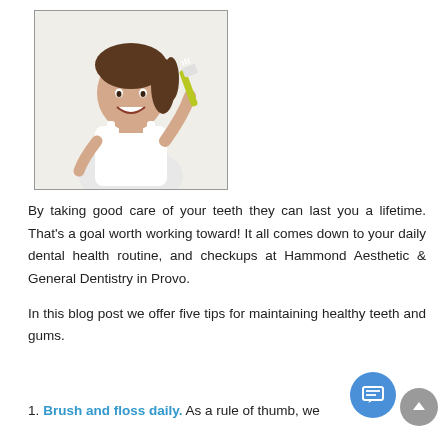[Figure (photo): A young girl in a white tank top smiling while brushing her teeth with a toothbrush, photographed on a white background]
By taking good care of your teeth they can last you a lifetime. That's a goal worth working toward! It all comes down to your daily dental health routine, and checkups at Hammond Aesthetic & General Dentistry in Provo.
In this blog post we offer five tips for maintaining healthy teeth and gums.
1. Brush and floss daily. As a rule of thumb, we